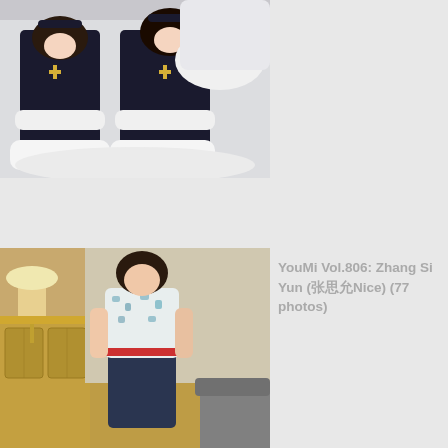[Figure (photo): Two people in black and white maid/cosplay costumes with cross necklaces, kneeling on a white fluffy surface in a light-colored room]
[Figure (photo): Young woman in a floral blouse and navy pencil skirt with red belt, posing in an ornate gold-furnished room with lamp]
YouMi Vol.806: Zhang Si Yun (张思允Nice) (77 photos)